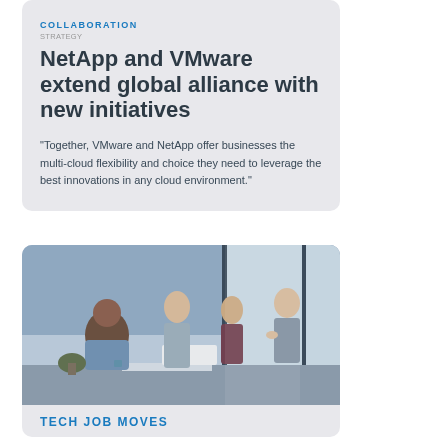COLLABORATION
NetApp and VMware extend global alliance with new initiatives
"Together, VMware and NetApp offer businesses the multi-cloud flexibility and choice they need to leverage the best innovations in any cloud environment."
[Figure (photo): Four business professionals having a conversation in a modern office space with large windows]
TECH JOB MOVES